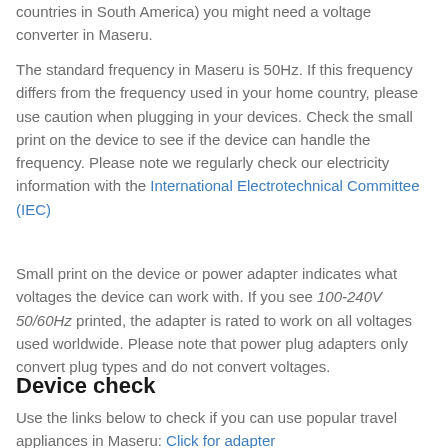countries in South America) you might need a voltage converter in Maseru.
The standard frequency in Maseru is 50Hz. If this frequency differs from the frequency used in your home country, please use caution when plugging in your devices. Check the small print on the device to see if the device can handle the frequency. Please note we regularly check our electricity information with the International Electrotechnical Committee (IEC)
Small print on the device or power adapter indicates what voltages the device can work with. If you see 100-240V 50/60Hz printed, the adapter is rated to work on all voltages used worldwide. Please note that power plug adapters only convert plug types and do not convert voltages.
Device check
Use the links below to check if you can use popular travel appliances in Maseru: Click for adapter